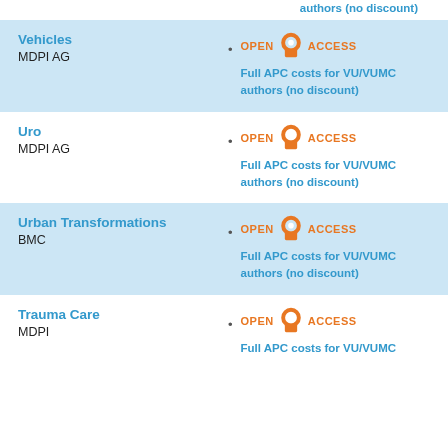authors (no discount)
Vehicles
MDPI AG
Full APC costs for VU/VUMC authors (no discount)
Uro
MDPI AG
Full APC costs for VU/VUMC authors (no discount)
Urban Transformations
BMC
Full APC costs for VU/VUMC authors (no discount)
Trauma Care
MDPI
Full APC costs for VU/VUMC